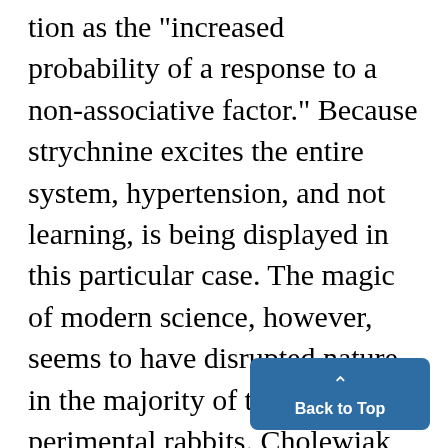tion as the "increased probability of a response to a non-associative factor." Because strychnine excites the entire system, hypertension, and not learning, is being displayed in this particular case. The magic of modern science, however, seems to have disrupted nature in the majority of the experimental rabbits. Cholewiak reports that they do not mate as well as they did previously. Whether strychnine or the electric shock is to blame has not yet b